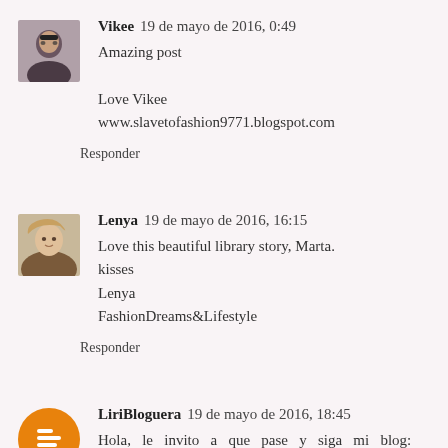Vikee   19 de mayo de 2016, 0:49
Amazing post

Love Vikee
www.slavetofashion9771.blogspot.com

Responder
Lenya   19 de mayo de 2016, 16:15
Love this beautiful library story, Marta.
kisses
Lenya
FashionDreams&Lifestyle

Responder
LiriBloguera   19 de mayo de 2016, 18:45
Hola, le invito a que pase y siga mi blog: